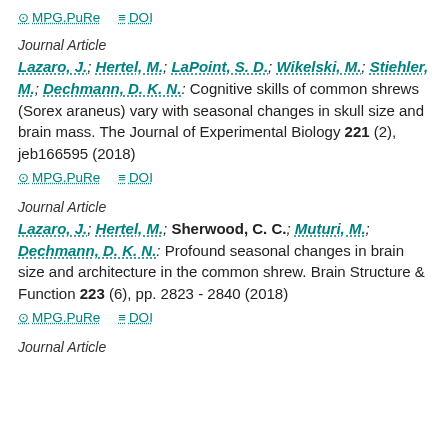MPG.PuRe   DOI (links row at top)
Journal Article
Lazaro, J.; Hertel, M.; LaPoint, S. D.; Wikelski, M.; Stiehler, M.; Dechmann, D. K. N.: Cognitive skills of common shrews (Sorex araneus) vary with seasonal changes in skull size and brain mass. The Journal of Experimental Biology 221 (2), jeb166595 (2018)
MPG.PuRe   DOI
Journal Article
Lazaro, J.; Hertel, M.; Sherwood, C. C.; Muturi, M.; Dechmann, D. K. N.: Profound seasonal changes in brain size and architecture in the common shrew. Brain Structure & Function 223 (6), pp. 2823 - 2840 (2018)
MPG.PuRe   DOI
Journal Article (partial, cut off)